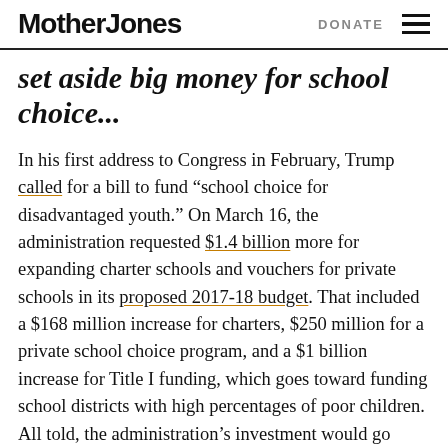Mother Jones | DONATE
set aside big money for school choice...
In his first address to Congress in February, Trump called for a bill to fund “school choice for disadvantaged youth.” On March 16, the administration requested $1.4 billion more for expanding charter schools and vouchers for private schools in its proposed 2017-18 budget. That included a $168 million increase for charters, $250 million for a private school choice program, and a $1 billion increase for Title I funding, which goes toward funding school districts with high percentages of poor children. All told, the administration’s investment would go toward